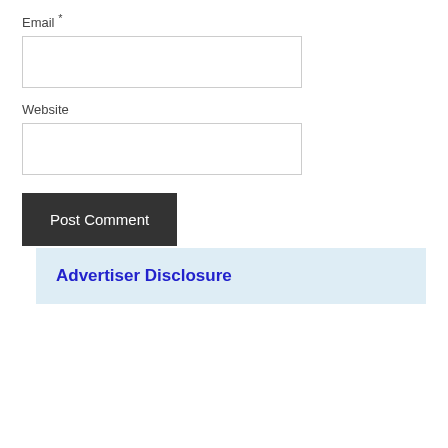Email *
Website
Post Comment
Advertiser Disclosure